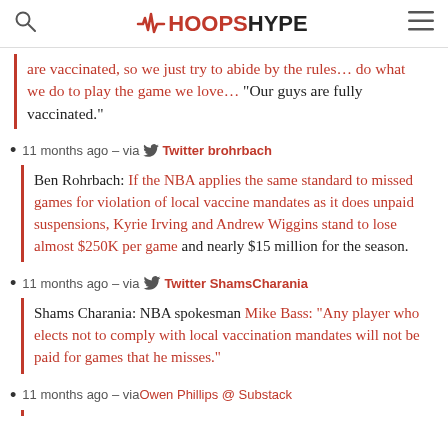HoopsHype
are vaccinated, so we just try to abide by the rules... do what we do to play the game we love... "Our guys are fully vaccinated."
11 months ago – via Twitter brohrbach
Ben Rohrbach: If the NBA applies the same standard to missed games for violation of local vaccine mandates as it does unpaid suspensions, Kyrie Irving and Andrew Wiggins stand to lose almost $250K per game and nearly $15 million for the season.
11 months ago – via Twitter ShamsCharania
Shams Charania: NBA spokesman Mike Bass: "Any player who elects not to comply with local vaccination mandates will not be paid for games that he misses."
11 months ago – via Owen Phillips @ Substack